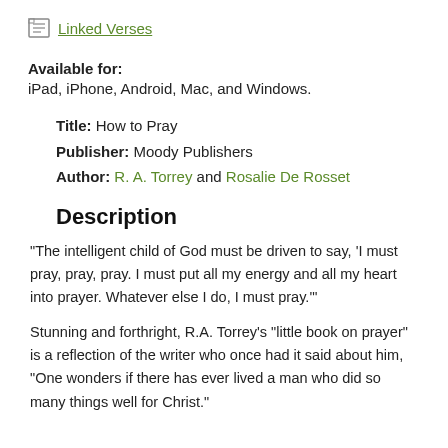Linked Verses
Available for: iPad, iPhone, Android, Mac, and Windows.
Title: How to Pray
Publisher: Moody Publishers
Author: R. A. Torrey and Rosalie De Rosset
Description
"The intelligent child of God must be driven to say, 'I must pray, pray, pray. I must put all my energy and all my heart into prayer. Whatever else I do, I must pray.'"
Stunning and forthright, R.A. Torrey's "little book on prayer" is a reflection of the writer who once had it said about him, "One wonders if there has ever lived a man who did so many things well for Christ."